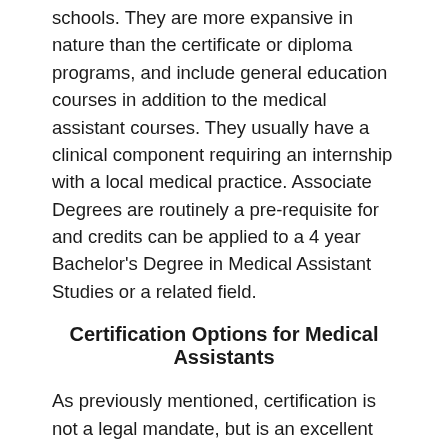schools. They are more expansive in nature than the certificate or diploma programs, and include general education courses in addition to the medical assistant courses. They usually have a clinical component requiring an internship with a local medical practice. Associate Degrees are routinely a pre-requisite for and credits can be applied to a 4 year Bachelor's Degree in Medical Assistant Studies or a related field.
Certification Options for Medical Assistants
As previously mentioned, certification is not a legal mandate, but is an excellent option for those who wish to advance their careers. It will not only help in attaining employment after graduation, but it may also enhance preliminary salary negotiations. A number of potential El Mirage AZ medical employers simply will not employ a medical assistant that has not attained certification or accredited formal training. Among the most popular and perhaps the most highly